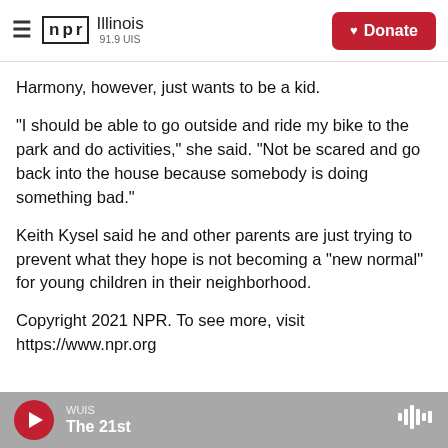NPR Illinois 91.9 UIS
Harmony, however, just wants to be a kid.
"I should be able to go outside and ride my bike to the park and do activities," she said. "Not be scared and go back into the house because somebody is doing something bad."
Keith Kysel said he and other parents are just trying to prevent what they hope is not becoming a "new normal" for young children in their neighborhood.
Copyright 2021 NPR. To see more, visit https://www.npr.org
WUIS The 21st